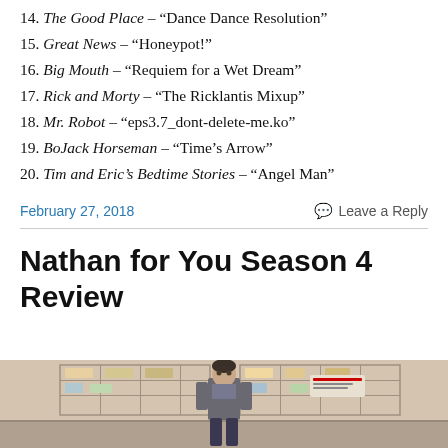14. The Good Place – "Dance Dance Resolution"
15. Great News – "Honeypot!"
16. Big Mouth – "Requiem for a Wet Dream"
17. Rick and Morty – "The Ricklantis Mixup"
18. Mr. Robot – "eps3.7_dont-delete-me.ko"
19. BoJack Horseman – "Time's Arrow"
20. Tim and Eric's Bedtime Stories – "Angel Man"
February 27, 2018   Leave a Reply
Nathan for You Season 4 Review
[Figure (photo): Photo from Nathan for You Season 4, showing a person in a store or warehouse setting]